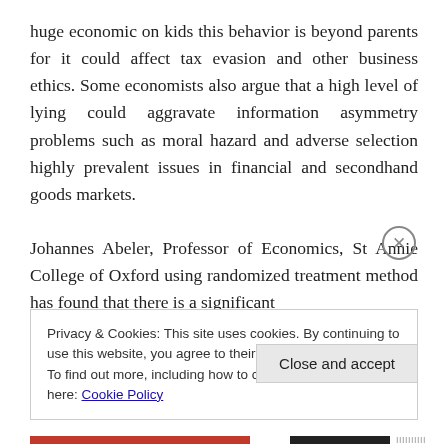huge economic on kids this behavior is beyond parents for it could affect tax evasion and other business ethics. Some economists also argue that a high level of lying could aggravate information asymmetry problems such as moral hazard and adverse selection highly prevalent issues in financial and secondhand goods markets.

Johannes Abeler, Professor of Economics, St Annie College of Oxford using randomized treatment method has found that there is a significant
Privacy & Cookies: This site uses cookies. By continuing to use this website, you agree to their use.
To find out more, including how to control cookies, see here: Cookie Policy
Close and accept